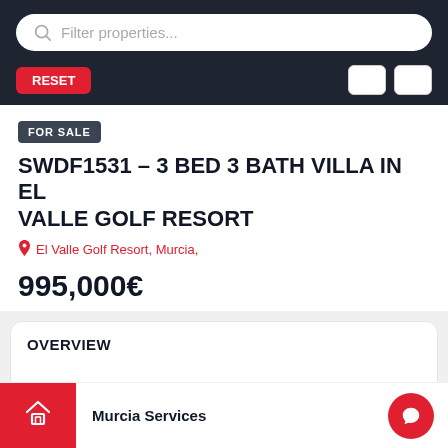Filter properties...
FOR SALE
SWDF1531 – 3 BED 3 BATH VILLA IN EL VALLE GOLF RESORT
El Valle Golf Resort, Murcia,
995,000€
OVERVIEW
| SWDF1531 | Villa |